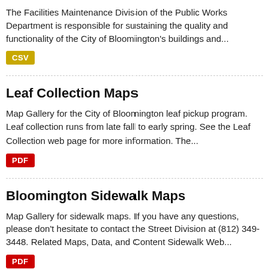The Facilities Maintenance Division of the Public Works Department is responsible for sustaining the quality and functionality of the City of Bloomington's buildings and...
CSV
Leaf Collection Maps
Map Gallery for the City of Bloomington leaf pickup program. Leaf collection runs from late fall to early spring. See the Leaf Collection web page for more information. The...
PDF
Bloomington Sidewalk Maps
Map Gallery for sidewalk maps. If you have any questions, please don't hesitate to contact the Street Division at (812) 349-3448. Related Maps, Data, and Content Sidewalk Web...
PDF